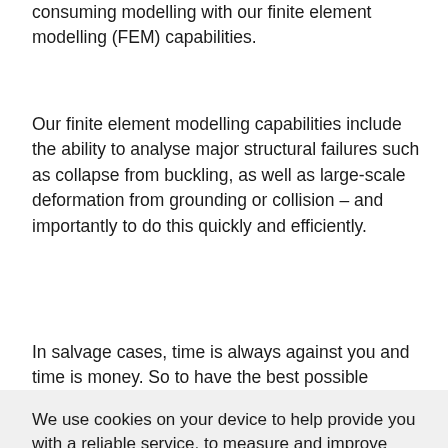consuming modelling with our finite element modelling (FEM) capabilities.
Our finite element modelling capabilities include the ability to analyse major structural failures such as collapse from buckling, as well as large-scale deformation from grounding or collision – and importantly to do this quickly and efficiently.
In salvage cases, time is always against you and time is money. So to have the best possible assessment to allow
We use cookies on your device to help provide you with a reliable service, to measure and improve site performance and to help us to provide you with a more personalised experience. For more information, please see our Cookie Policy.
Find out more | I agree